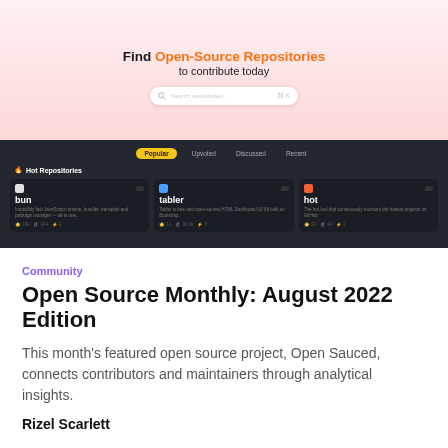[Figure (screenshot): Screenshot of the Open Sauced website showing a pink header section with text 'Find Open-Source Repositories to contribute today' and a search bar, followed by a dark navigation bar with tabs (Popular, Upvoted, Discussed, Recent) and Hot Repositories section showing three repository cards: bun, tabler, and hot.]
Community
Open Source Monthly: August 2022 Edition
This month's featured open source project, Open Sauced, connects contributors and maintainers through analytical insights.
Rizel Scarlett